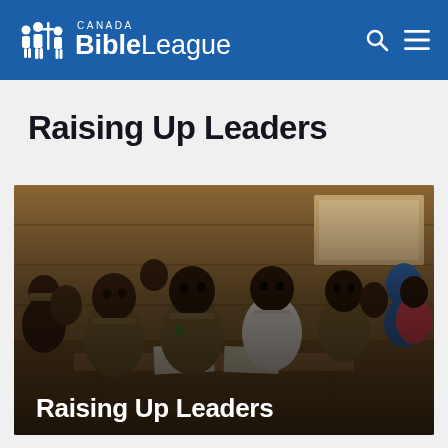Bible League Canada
Raising Up Leaders
[Figure (photo): Classroom of African children in school uniforms sitting at wooden desks, looking attentively forward. Several boys in khaki uniforms are in the foreground. A text overlay at the bottom reads 'Raising Up Leaders' in white bold text.]